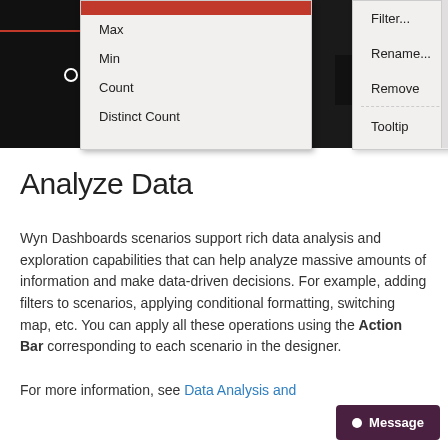[Figure (screenshot): Screenshot of a UI showing two dropdown/context menus. Left menu has items: Max, Min, Count, Distinct Count with a red top bar. Right menu has items: Filter..., Rename..., Remove, and a dashed separator followed by Tooltip. Background is dark/black with a white circle icon visible.]
Analyze Data
Wyn Dashboards scenarios support rich data analysis and exploration capabilities that can help analyze massive amounts of information and make data-driven decisions. For example, adding filters to scenarios, applying conditional formatting, switching map, etc. You can apply all these operations using the Action Bar corresponding to each scenario in the designer.
For more information, see Data Analysis and